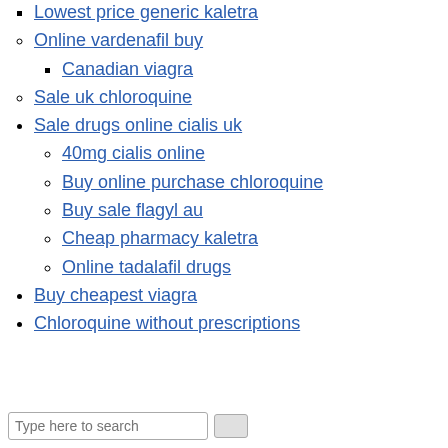Lowest price generic kaletra
Online vardenafil buy
Canadian viagra
Sale uk chloroquine
Sale drugs online cialis uk
40mg cialis online
Buy online purchase chloroquine
Buy sale flagyl au
Cheap pharmacy kaletra
Online tadalafil drugs
Buy cheapest viagra
Chloroquine without prescriptions